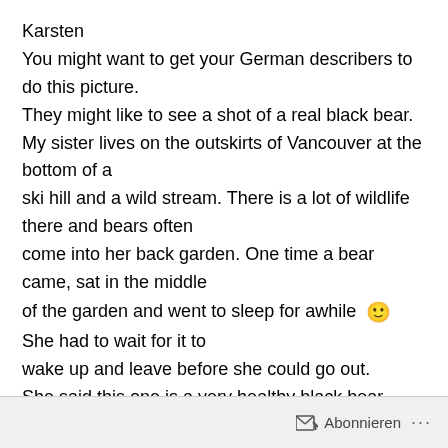Karsten
You might want to get your German describers to do this picture.
They might like to see a shot of a real black bear.
My sister lives on the outskirts of Vancouver at the bottom of a
ski hill and a wild stream. There is a lot of wildlife there and bears often
come into her back garden. One time a bear came, sat in the middle
of the garden and went to sleep for awhile 🙂 She had to wait for it to
wake up and leave before she could go out.
She said this one is a very healthy black bear.
Abonnieren ...